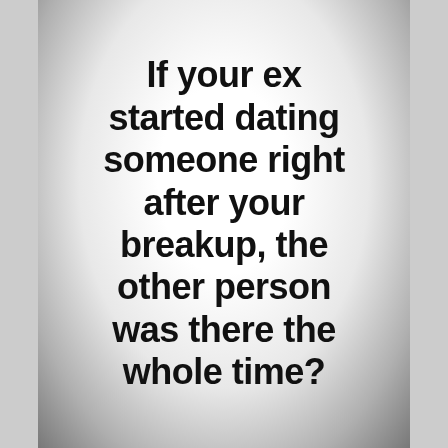[Figure (illustration): Black and white meme image with dark vignette border and white/grey background, containing bold black text quote]
If your ex started dating someone right after your breakup, the other person was there the whole time?